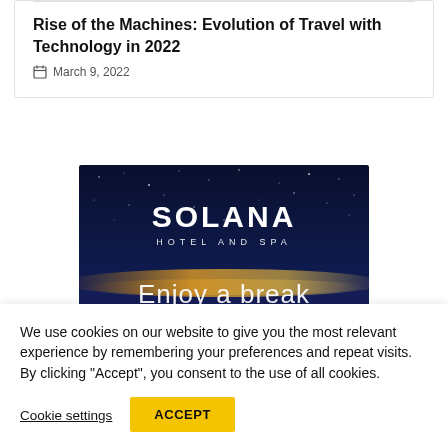Rise of the Machines: Evolution of Travel with Technology in 2022
March 9, 2022
[Figure (illustration): Solana Hotel and Spa advertisement with dark starry sky background, logo text 'SOLANA HOTEL AND SPA' and tagline 'Enjoy a break']
We use cookies on our website to give you the most relevant experience by remembering your preferences and repeat visits. By clicking “Accept”, you consent to the use of all cookies.
Cookie settings
ACCEPT